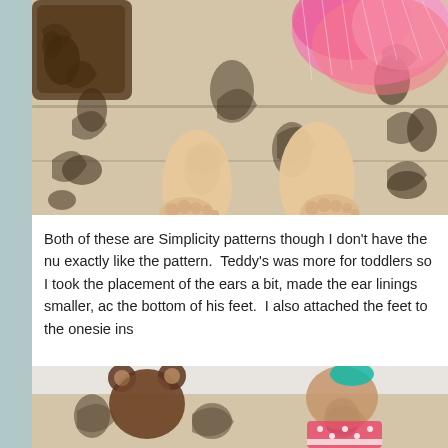[Figure (photo): Child lying on a decorative black and white floral/damask patterned couch or chair, wearing a pink tutu skirt, feet visible in the foreground]
Both of these are Simplicity patterns though I don't have the nu exactly like the pattern.  Teddy's was more for toddlers so I took the placement of the ears a bit, made the ear linings smaller, ac the bottom of his feet.  I also attached the feet to the onesie ins
[Figure (photo): Two children sitting on a damask patterned couch, one wearing a bear ear hat and the other in a pink polka dot outfit]